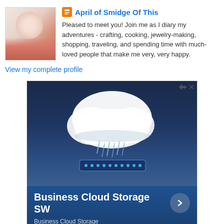April of Smidge Of This
Pleased to meet you! Join me as I diary my adventures - crafting, cooking, jewelry-making, shopping, traveling, and spending time with much-loved people that make me very, very happy.
View my complete profile
[Figure (photo): Advertisement for Business Cloud Storage SW showing a 3D cloud object with glowing blue base and rain effect. Blue gradient background. Text reads 'Business Cloud Storage SW' and 'Business Cloud Storage'.]
Powered by Blogger.